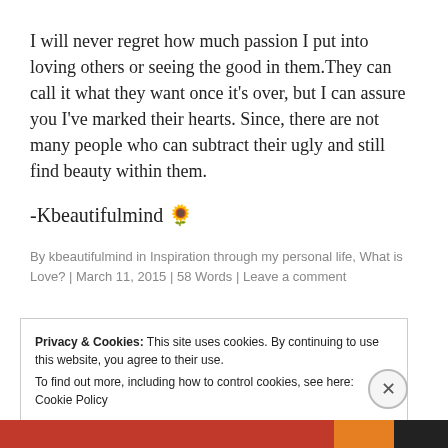I will never regret how much passion I put into loving others or seeing the good in them.They can call it what they want once it's over, but I can assure you I've marked their hearts. Since, there are not many people who can subtract their ugly and still find beauty within them.
-Kbeautifulmind 🌻
By kbeautifulmind in Inspiration through my personal life, What is Love? | March 11, 2015 | 58 Words | Leave a comment
Privacy & Cookies: This site uses cookies. By continuing to use this website, you agree to their use. To find out more, including how to control cookies, see here: Cookie Policy
Close and accept